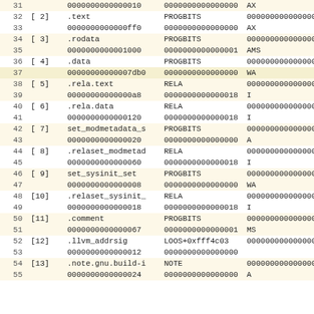| # | idx/name | type | addr | flags | val |
| --- | --- | --- | --- | --- | --- |
| 31 |  | 0000000000000010 | 0000000000000000 | AX | 0 |
| 32 | [ 2] .text | PROGBITS | 0000000000000000 |  |  |
| 33 |  | 0000000000000ff0 | 0000000000000000 | AX | 0 |
| 34 | [ 3] .rodata | PROGBITS | 0000000000000000 |  |  |
| 35 |  | 0000000000001000 | 0000000000000001 | AMS | 0 |
| 36 | [ 4] .data | PROGBITS | 0000000000000000 |  |  |
| 37 |  | 00000000000007db0 | 0000000000000000 | WA | 0 |
| 38 | [ 5] .rela.text | RELA | 0000000000000000 |  |  |
| 39 |  | 00000000000000a8 | 0000000000000018 | I | 16 |
| 40 | [ 6] .rela.data | RELA | 0000000000000000 |  |  |
| 41 |  | 0000000000000120 | 0000000000000018 | I | 16 |
| 42 | [ 7] set_modmetadata_s | PROGBITS | 0000000000000000 |  |  |
| 43 |  | 0000000000000020 | 0000000000000000 | A | 0 |
| 44 | [ 8] .relaset_modmetad | RELA | 0000000000000000 |  |  |
| 45 |  | 0000000000000060 | 0000000000000018 | I | 16 |
| 46 | [ 9] set_sysinit_set | PROGBITS | 0000000000000000 |  |  |
| 47 |  | 0000000000000008 | 0000000000000000 | WA | 0 |
| 48 | [10] .relaset_sysinit_ | RELA | 0000000000000000 |  |  |
| 49 |  | 0000000000000018 | 0000000000000018 | I | 16 |
| 50 | [11] .comment | PROGBITS | 0000000000000000 |  |  |
| 51 |  | 0000000000000067 | 0000000000000001 | MS | 0 |
| 52 | [12] .llvm_addrsig | LOOS+0xfff4c03 | 0000000000000000 |  |  |
| 53 |  | 0000000000000012 | 0000000000000000 |  | 0 |
| 54 | [13] .note.gnu.build-i | NOTE | 0000000000000000 |  |  |
| 55 |  | 0000000000000024 | 0000000000000000 | A | 0 |